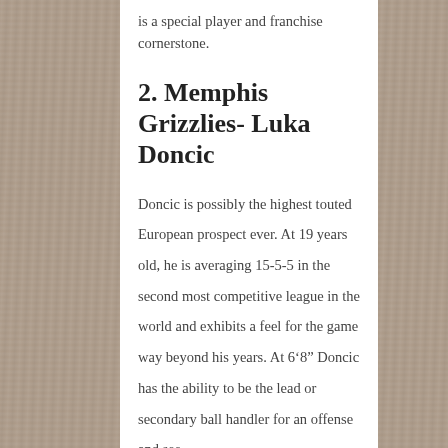is a special player and franchise cornerstone.
2. Memphis Grizzlies- Luka Doncic
Doncic is possibly the highest touted European prospect ever. At 19 years old, he is averaging 15-5-5 in the second most competitive league in the world and exhibits a feel for the game way beyond his years. At 6‘8” Doncic has the ability to be the lead or secondary ball handler for an offense and see